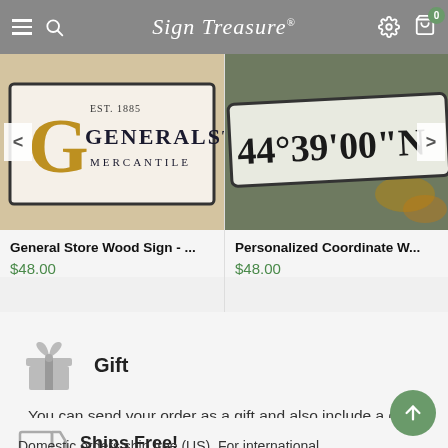Sign Treasure
[Figure (photo): General Store Wood Sign product photo showing vintage wooden sign with ornate G logo and text EST. 1885 GENERAL STORE MERCANTILE]
[Figure (photo): Personalized Coordinate Wood Sign product photo showing wooden sign with coordinates 44° 39' 00" N on rustic background with autumn leaves]
General Store Wood Sign - ...
$48.00
Personalized Coordinate W...
$48.00
Gift
You can send your order as a gift and also include a gift note!
Ships Free!
Domestic orders ship free (US). For international...